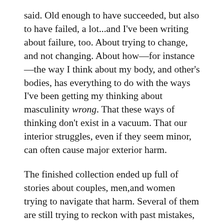said. Old enough to have succeeded, but also to have failed, a lot...and I've been writing about failure, too. About trying to change, and not changing. About how—for instance—the way I think about my body, and other's bodies, has everything to do with the ways I've been getting my thinking about masculinity wrong. That these ways of thinking don't exist in a vacuum. That our interior struggles, even if they seem minor, can often cause major exterior harm.
The finished collection ended up full of stories about couples, men,and women trying to navigate that harm. Several of them are still trying to reckon with past mistakes, to figure out whether they have changed, or ever can. A violent day laborer, willingly staying out of the eyes of